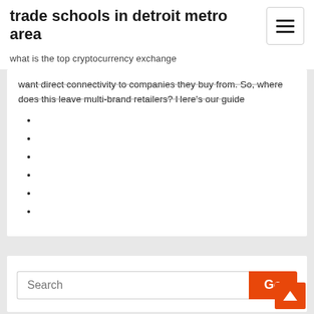trade schools in detroit metro area
what is the top cryptocurrency exchange
want direct connectivity to companies they buy from. So, where does this leave multi-brand retailers? Here's our guide